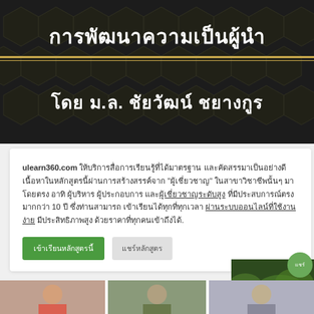[Figure (illustration): Dark banner with hexagonal geometric pattern background. Contains Thai title text 'การพัฒนาความเป็นผู้นำ' in white bold font at top, gold horizontal dividing lines, and Thai subtitle 'โดย ม.ล. ชัยวัฒน์ ชยางกูร' in white bold font below.]
ulearn360.com ให้บริการสื่อการเรียนรู้ที่ได้มาตรฐาน และคัดสรรมาเป็นอย่างดี เนื้อหาในหลักสูตรนี้ผ่านการสร้างสรรค์จาก "ผู้เชี่ยวชาญ" ในสาขาวิชาชีพนั้นๆ มาโดยตรง อาทิ ผู้บริหาร ผู้ประกอบการ และผู้เชี่ยวชาญระดับสูง ที่มีประสบการณ์ตรงมากกว่า 10 ปี ซึ่งท่านสามารถ เข้าเรียนได้ทุกที่ทุกเวลา ผ่านระบบออนไลน์ที่ใช้งานง่าย มีประสิทธิภาพสูง ด้วยราคาที่ทุกคนเข้าถึงได้.
[Figure (photo): Photo of green foliage/plants on the right side]